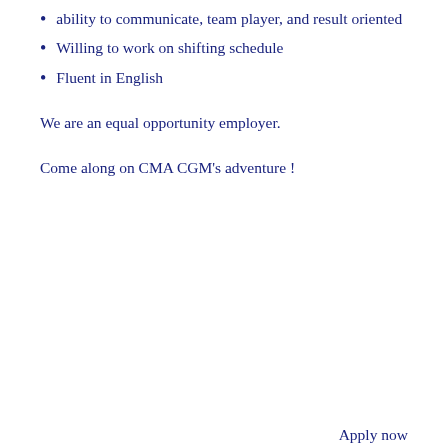ability to communicate, team player, and result oriented
Willing to work on shifting schedule
Fluent in English
We are an equal opportunity employer.
Come along on CMA CGM's adventure !
Apply now